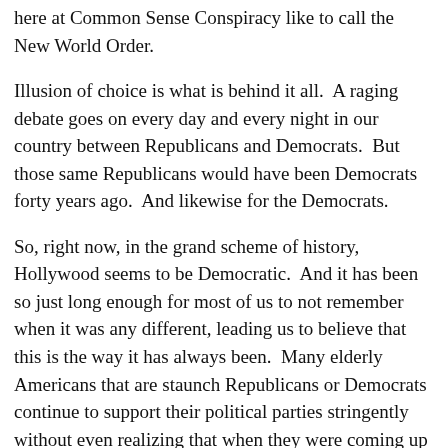here at Common Sense Conspiracy like to call the New World Order.
Illusion of choice is what is behind it all. A raging debate goes on every day and every night in our country between Republicans and Democrats. But those same Republicans would have been Democrats forty years ago. And likewise for the Democrats.
So, right now, in the grand scheme of history, Hollywood seems to be Democratic. And it has been so just long enough for most of us to not remember when it was any different, leading us to believe that this is the way it has always been. Many elderly Americans that are staunch Republicans or Democrats continue to support their political parties stringently without even realizing that when they were coming up in the world, the views of their party of choice were the opposite. That’s right, a lot of elderly Republicans’ values were Democratic by today’s standards when they adopted the party decades ago.